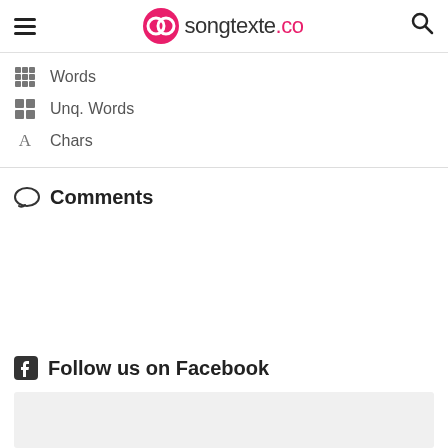songtexte.co
Words
Unq. Words
Chars
Comments
Follow us on Facebook
[Figure (other): Facebook embed widget placeholder (grey box)]